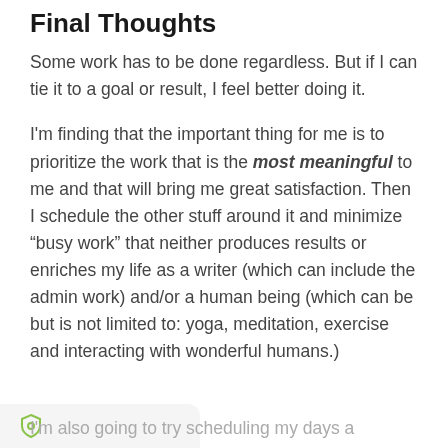Final Thoughts
Some work has to be done regardless. But if I can tie it to a goal or result, I feel better doing it.
I'm finding that the important thing for me is to prioritize the work that is the most meaningful to me and that will bring me great satisfaction. Then I schedule the other stuff around it and minimize “busy work” that neither produces results or enriches my life as a writer (which can include the admin work) and/or a human being (which can be but is not limited to: yoga, meditation, exercise and interacting with wonderful humans.)
I'm also going to try scheduling my days a